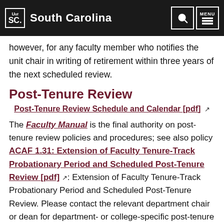University of South Carolina
however, for any faculty member who notifies the unit chair in writing of retirement within three years of the next scheduled review.
Post-Tenure Review
Post-Tenure Review Schedule and Calendar [pdf]
The Faculty Manual is the final authority on post-tenure review policies and procedures; see also policy ACAF 1.31: Extension of Faculty Tenure-Track Probationary Period and Scheduled Post-Tenure Review [pdf]: Extension of Faculty Tenure-Track Probationary Period and Scheduled Post-Tenure Review. Please contact the relevant department chair or dean for department- or college-specific post-tenure review guidelines, as well as reviewing the